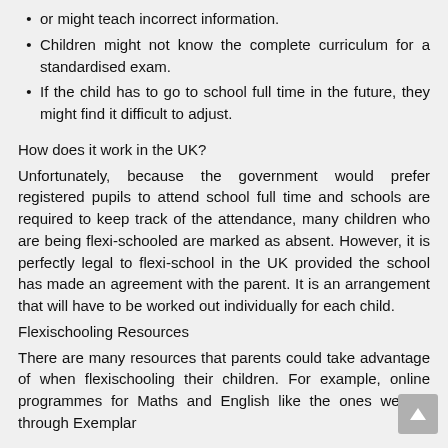or might teach incorrect information.
Children might not know the complete curriculum for a standardised exam.
If the child has to go to school full time in the future, they might find it difficult to adjust.
How does it work in the UK?
Unfortunately, because the government would prefer registered pupils to attend school full time and schools are required to keep track of the attendance, many children who are being flexi-schooled are marked as absent. However, it is perfectly legal to flexi-school in the UK provided the school has made an agreement with the parent. It is an arrangement that will have to be worked out individually for each child.
Flexischooling Resources
There are many resources that parents could take advantage of when flexischooling their children. For example, online programmes for Maths and English like the ones we run through Exemplar